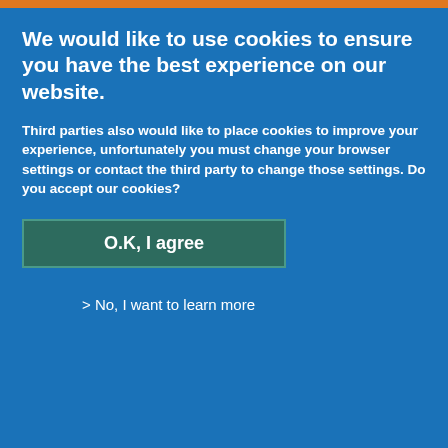We would like to use cookies to ensure you have the best experience on our website.
Third parties also would like to place cookies to improve your experience, unfortunately you must change your browser settings or contact the third party to change those settings. Do you accept our cookies?
O.K, I agree
> No, I want to learn more
specialist signposting database, regular Support resources.
→ Find out how we Support your team
Top
Back to Offering MS Support
Topic: Offering support